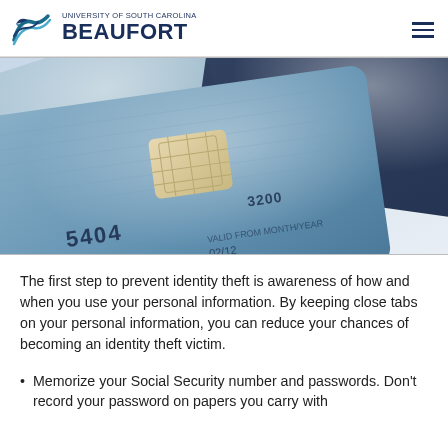University of South Carolina Beaufort
[Figure (photo): Close-up photograph of multiple credit/debit cards stacked on top of each other, showing card numbers and a chip on the front card. The cards are silver/blue in color on a light background.]
The first step to prevent identity theft is awareness of how and when you use your personal information. By keeping close tabs on your personal information, you can reduce your chances of becoming an identity theft victim.
Memorize your Social Security number and passwords. Don't record your password on papers you carry with